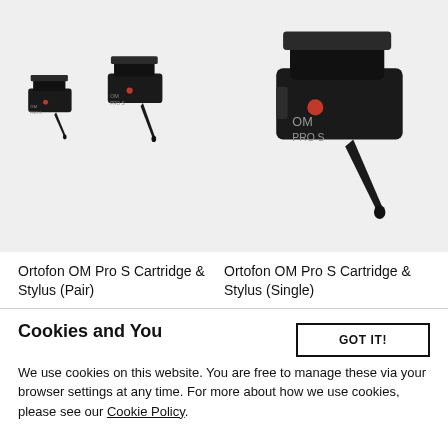[Figure (photo): Two Ortofon OM Pro S cartridges side by side (pair) on grey background]
[Figure (photo): Single larger Ortofon OM Pro S cartridge on grey background]
Ortofon OM Pro S Cartridge & Stylus (Pair)
Ortofon OM Pro S Cartridge & Stylus (Single)
Cookies and You
GOT IT!
We use cookies on this website. You are free to manage these via your browser settings at any time. For more about how we use cookies, please see our Cookie Policy.